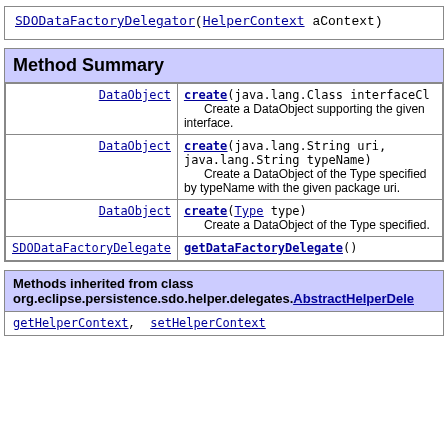SDODataFactoryDelegator(HelperContext aContext)
| Return Type | Method |
| --- | --- |
| DataObject | create(java.lang.Class interfaceCl...
Create a DataObject supporting the given interface. |
| DataObject | create(java.lang.String uri, java.lang.String typeName)
Create a DataObject of the Type specified by typeName with the given package uri. |
| DataObject | create(Type type)
Create a DataObject of the Type specified. |
| SDODataFactoryDelegate | getDataFactoryDelegate() |
Methods inherited from class org.eclipse.persistence.sdo.helper.delegates.AbstractHelperDele...
getHelperContext, setHelperContext